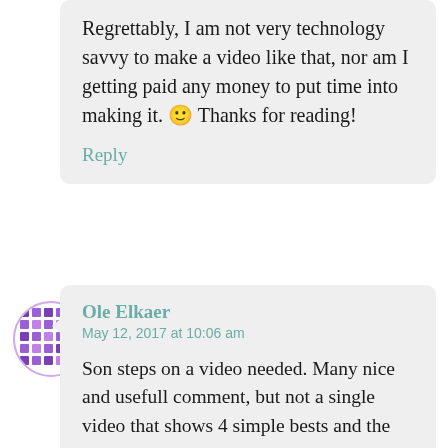Regrettably, I am not very technology savvy to make a video like that, nor am I getting paid any money to put time into making it. 🙂 Thanks for reading!
Reply
[Figure (illustration): Circular avatar with purple pixel/dot pattern on white background]
Ole Elkaer
May 12, 2017 at 10:06 am
Son steps on a video needed. Many nice and usefull comment, but not a single video that shows 4 simple bests and the steps.